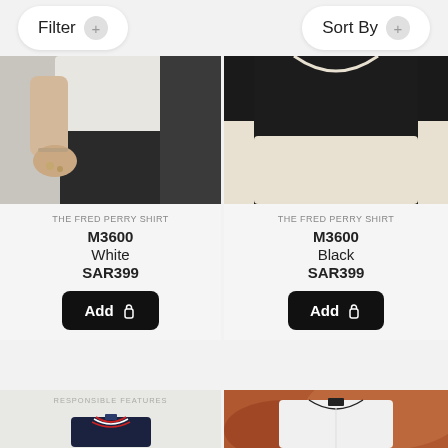Filter   Sort By
[Figure (photo): Person wearing white shirt and black pants, close-up of torso and hands with jewelry]
THE FRED PERRY SHIRT
M3600
White
SAR399
Add
[Figure (photo): Person wearing black and cream/off-white top, close-up of torso]
THE FRED PERRY SHIRT
M3600
Black
SAR399
Add
[Figure (photo): Dark navy polo shirt with red and white stripe collar, label reads RESPONSIBLE FEATURES]
[Figure (photo): White polo shirt with black tipping on collar, blurred terracotta/brown background]